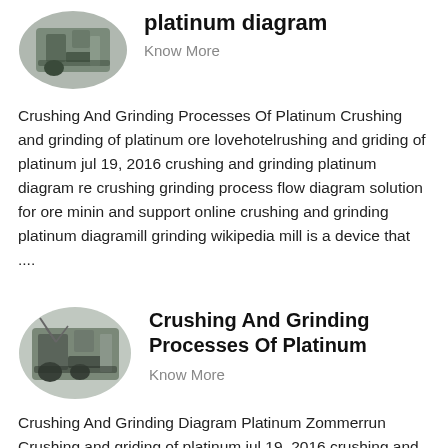[Figure (photo): Oval/circular thumbnail photo of mining/crushing machinery equipment]
platinum diagram
Know More
Crushing And Grinding Processes Of Platinum Crushing and grinding of platinum ore lovehotelrushing and griding of platinum jul 19, 2016 crushing and grinding platinum diagram re crushing grinding process flow diagram solution for ore minin and support online crushing and grinding platinum diagramill grinding wikipedia mill is a device that ....
[Figure (photo): Oval/circular thumbnail photo of mining/crushing machinery equipment]
Crushing And Grinding Processes Of Platinum
Know More
Crushing And Grinding Diagram Platinum Zommerrun Crushing and griding of platinum jul 19, 2016 crushing and grinding platinum diagram re crushing grinding process flow diagram solution for ore mininget price